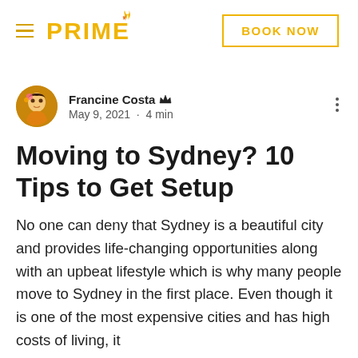PRIME | BOOK NOW
Francine Costa · May 9, 2021 · 4 min
Moving to Sydney? 10 Tips to Get Setup
No one can deny that Sydney is a beautiful city and provides life-changing opportunities along with an upbeat lifestyle which is why many people move to Sydney in the first place. Even though it is one of the most expensive cities and has high costs of living, it